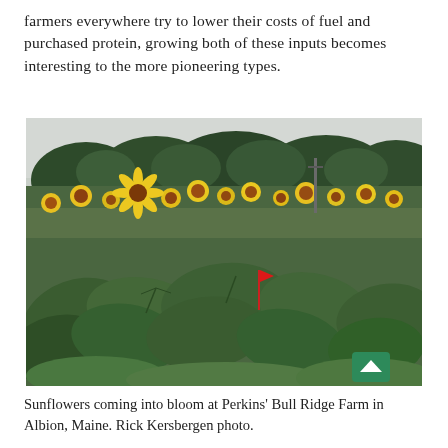farmers everywhere try to lower their costs of fuel and purchased protein, growing both of these inputs becomes interesting to the more pioneering types.
[Figure (photo): A field of sunflowers coming into bloom, with large green leaves in the foreground, yellow sunflower blooms visible in the middle ground, and a dense treeline in the background. A small red flag marker is visible in the field. A green back-to-top button appears in the bottom-right corner of the image.]
Sunflowers coming into bloom at Perkins' Bull Ridge Farm in Albion, Maine. Rick Kersbergen photo.